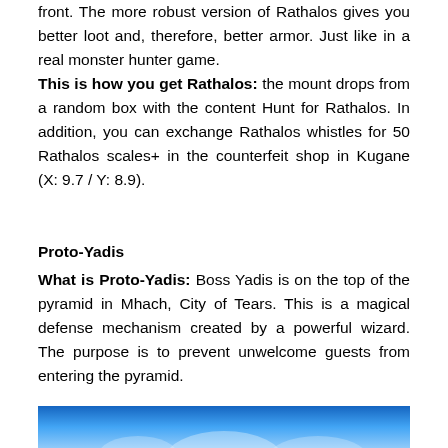front. The more robust version of Rathalos gives you better loot and, therefore, better armor. Just like in a real monster hunter game. This is how you get Rathalos: the mount drops from a random box with the content Hunt for Rathalos. In addition, you can exchange Rathalos whistles for 50 Rathalos scales+ in the counterfeit shop in Kugane (X: 9.7 / Y: 8.9).
Proto-Yadis
What is Proto-Yadis: Boss Yadis is on the top of the pyramid in Mhach, City of Tears. This is a magical defense mechanism created by a powerful wizard. The purpose is to prevent unwelcome guests from entering the pyramid.
[Figure (photo): Bottom portion of a blue-toned image, likely showing a game scene related to Proto-Yadis.]